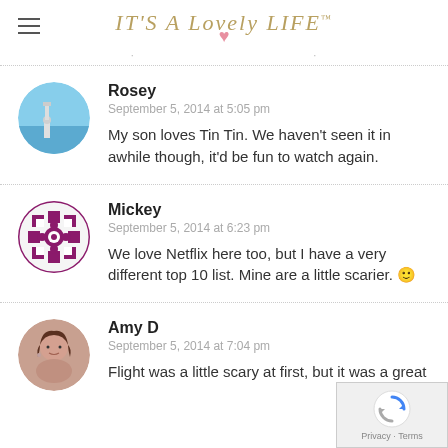It's A Lovely Life
Rosey
September 5, 2014 at 5:05 pm
My son loves Tin Tin. We haven't seen it in awhile though, it'd be fun to watch again.
Mickey
September 5, 2014 at 6:23 pm
We love Netflix here too, but I have a very different top 10 list. Mine are a little scarier. 🙂
Amy D
September 5, 2014 at 7:04 pm
Flight was a little scary at first, but it was a great